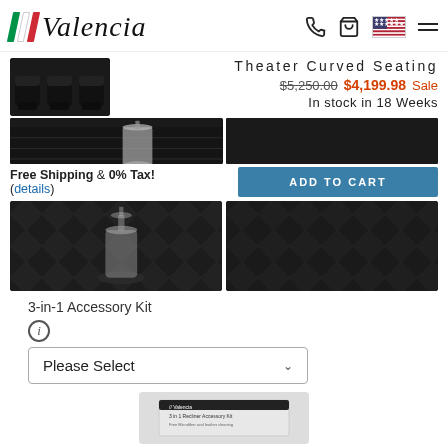[Figure (logo): Valencia brand logo with Italian flag stripes and italic script text]
Theater Curved Seating
$5,250.00 $4,199.98 Sale
In stock in 18 Weeks
Free Shipping & 0% Tax! (details)
[Figure (photo): Dark theater seating product images - close-up of cup holder and leather texture]
3-in-1 Accessory Kit
[Figure (photo): 3-in-1 Accessory Kit product box]